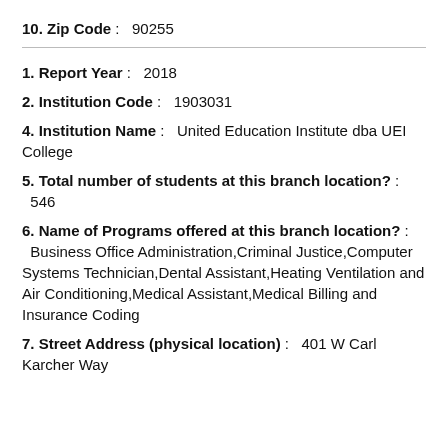10. Zip Code :   90255
1. Report Year :   2018
2. Institution Code :   1903031
4. Institution Name :   United Education Institute dba UEI College
5. Total number of students at this branch location? :  546
6. Name of Programs offered at this branch location? :  Business Office Administration,Criminal Justice,Computer Systems Technician,Dental Assistant,Heating Ventilation and Air Conditioning,Medical Assistant,Medical Billing and Insurance Coding
7. Street Address (physical location) :   401 W Carl Karcher Way